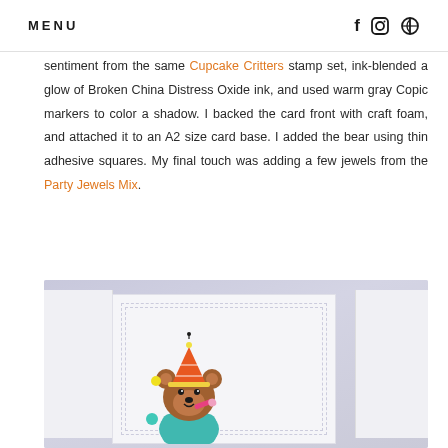MENU
sentiment from the same Cupcake Critters stamp set, ink-blended a glow of Broken China Distress Oxide ink, and used warm gray Copic markers to color a shadow. I backed the card front with craft foam, and attached it to an A2 size card base. I added the bear using thin adhesive squares. My final touch was adding a few jewels from the Party Jewels Mix.
[Figure (photo): A handmade greeting card with a white card front showing stitched border details and a cute illustrated brown bear wearing a party hat, with colorful confetti/jewel accents, photographed on a light purple/gray background.]